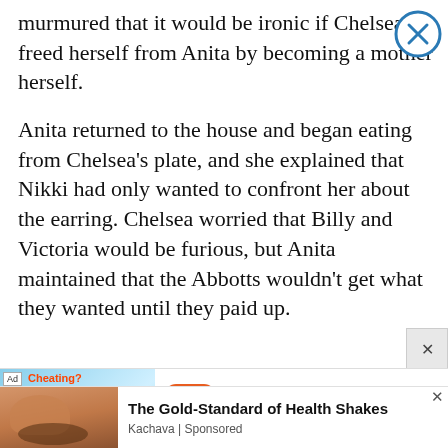murmured that it would be ironic if Chelsea freed herself from Anita by becoming a mother herself.
Anita returned to the house and began eating from Chelsea's plate, and she explained that Nikki had only wanted to confront her about the earring. Chelsea worried that Billy and Victoria would be furious, but Anita maintained that the Abbotts wouldn't get what they wanted until they paid up.
[Figure (other): Advertisement banner for BitLife - Life Simulator app, showing a flexing arm emoji graphic with 'Cheating?' text and BitLife app icon]
[Figure (other): Advertisement for 'The Gold-Standard of Health Shakes' by Kachava, showing a woman drinking from a bowl]